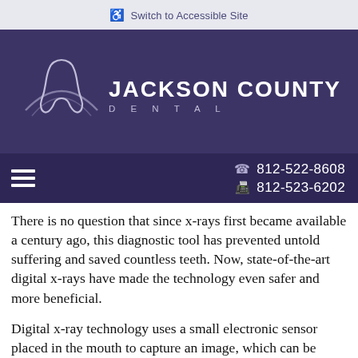♿ Switch to Accessible Site
[Figure (logo): Jackson County Dental logo: tooth icon with arc swoosh above text reading JACKSON COUNTY DENTAL on dark purple background]
☎ 812-522-8608  🖨 812-523-6202
There is no question that since x-rays first became available a century ago, this diagnostic tool has prevented untold suffering and saved countless teeth. Now, state-of-the-art digital x-rays have made the technology even safer and more beneficial.
Digital x-ray technology uses a small electronic sensor placed in the mouth to capture an image, which can be called up instantly on a computer screen. When digital